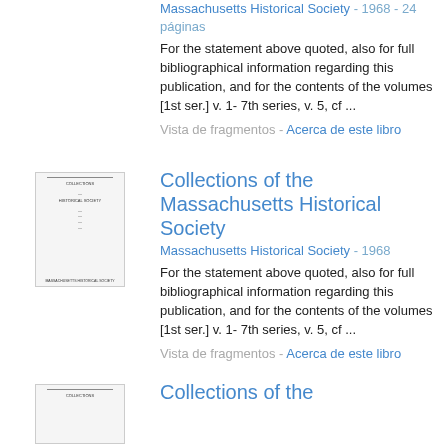Massachusetts Historical Society - 1968 - 24 páginas
For the statement above quoted, also for full bibliographical information regarding this publication, and for the contents of the volumes [1st ser.] v. 1- 7th series, v. 5, cf ...
Vista de fragmentos - Acerca de este libro
[Figure (illustration): Book cover thumbnail for Collections of the Massachusetts Historical Society]
Collections of the Massachusetts Historical Society
Massachusetts Historical Society - 1968
For the statement above quoted, also for full bibliographical information regarding this publication, and for the contents of the volumes [1st ser.] v. 1- 7th series, v. 5, cf ...
Vista de fragmentos - Acerca de este libro
[Figure (illustration): Book cover thumbnail for Collections of the Massachusetts Historical Society]
Collections of the